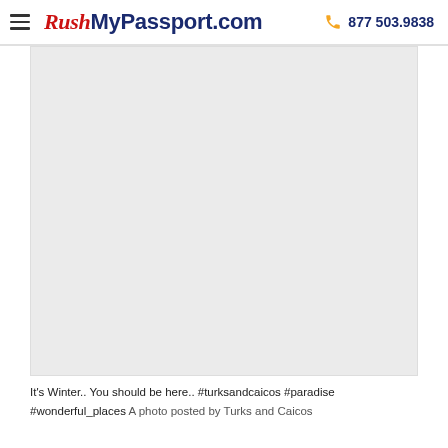RushMyPassport.com  877 503.9838
[Figure (photo): Blank/white image placeholder within a light gray bordered content area]
It's Winter.. You should be here.. #turksandcaicos #paradise #wonderful_places A photo posted by Turks and Caicos